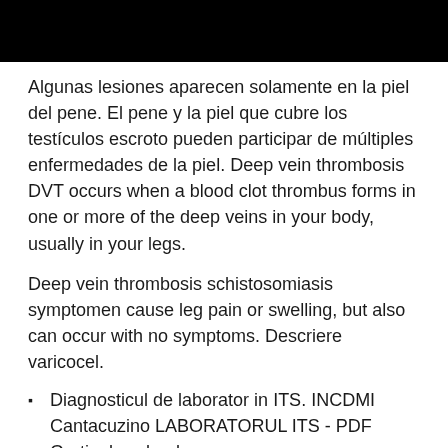[Figure (photo): Black rectangular image bar at top of page]
Algunas lesiones aparecen solamente en la piel del pene. El pene y la piel que cubre los testículos escroto pueden participar de múltiples enfermedades de la piel. Deep vein thrombosis DVT occurs when a blood clot thrombus forms in one or more of the deep veins in your body, usually in your legs.
Deep vein thrombosis schistosomiasis symptomen cause leg pain or swelling, but also can occur with no symptoms. Descriere varicocel.
Diagnosticul de laborator in ITS. INCDMI Cantacuzino LABORATORUL ITS - PDF Gratis download
Declaratie code Omschrijving declaratie code Totaal